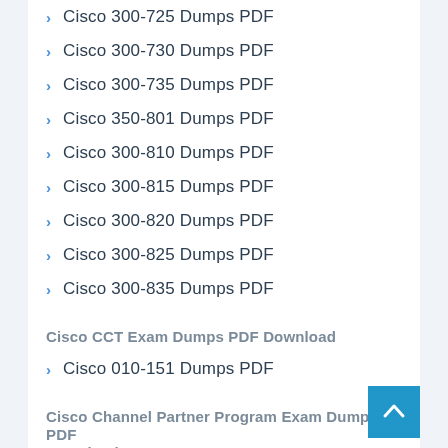Cisco 300-725 Dumps PDF
Cisco 300-730 Dumps PDF
Cisco 300-735 Dumps PDF
Cisco 350-801 Dumps PDF
Cisco 300-810 Dumps PDF
Cisco 300-815 Dumps PDF
Cisco 300-820 Dumps PDF
Cisco 300-825 Dumps PDF
Cisco 300-835 Dumps PDF
Cisco CCT Exam Dumps PDF Download
Cisco 010-151 Dumps PDF
Cisco Channel Partner Program Exam Dumps PDF Download